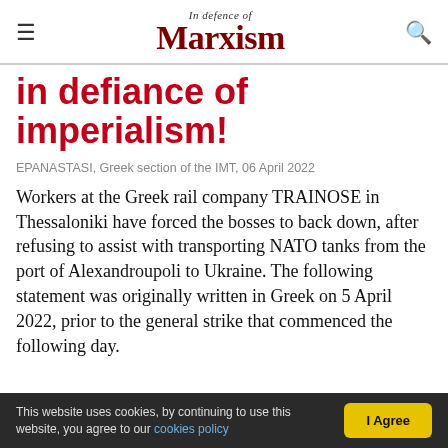In Defence of Marxism
in defiance of imperialism!
EPANASTASI, Greek section of the IMT, 06 April 2022
Workers at the Greek rail company TRAINOSE in Thessaloniki have forced the bosses to back down, after refusing to assist with transporting NATO tanks from the port of Alexandroupoli to Ukraine. The following statement was originally written in Greek on 5 April 2022, prior to the general strike that commenced the following day.
This website uses cookies, by continuing to use this website, you agree to our cookies policy  I Agree